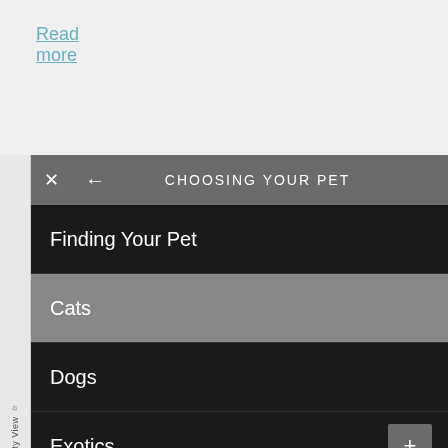Read more
[Figure (screenshot): Navigation menu overlay showing 'CHOOSING YOUR PET' with menu items: Finding Your Pet, Cats, Dogs, Exotics (+), Small Mammals (+), Livestock (+). Has close and back buttons at top. Accessibility View sidebar on left.]
Exclusive Offer